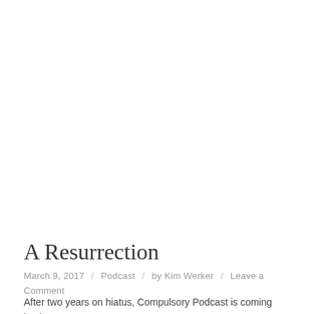A Resurrection
March 9, 2017 / Podcast / by Kim Werker / Leave a Comment
After two years on hiatus, Compulsory Podcast is coming back!